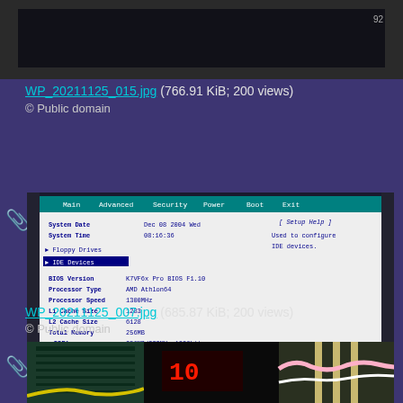[Figure (photo): Top portion of a CRT monitor screen, dark/black display, partially visible]
WP_20211125_015.jpg (766.91 KiB; 200 views)
© Public domain
[Figure (screenshot): BIOS setup screen showing system information including System Date Dec 08 2004 Wed, System Time 08:16:36, Floppy Drives, IDE Devices, BIOS Version K7VF6x Pro BIOS F1.10, Processor Type AMD Athlon64, Processor Speed 1300MHz, L1 Cache Size 1283, L2 Cache Size 6128, Total Memory 256MB, DRAM 256MB/333MHz 1996 bit, XMM2 None. Setup Help panel on right: Used to configure IDE devices.]
WP_20211125_007.jpg (685.87 KiB; 200 views)
© Public domain
[Figure (photo): Bottom portion showing computer hardware components: circuit board, red LED display showing numbers, pink/white cables, RAM sticks]